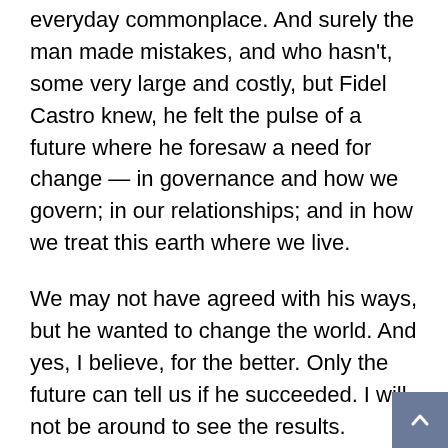everyday commonplace. And surely the man made mistakes, and who hasn't, some very large and costly, but Fidel Castro knew, he felt the pulse of a future where he foresaw a need for change — in governance and how we govern; in our relationships; and in how we treat this earth where we live.
We may not have agreed with his ways, but he wanted to change the world. And yes, I believe, for the better. Only the future can tell us if he succeeded. I will not be around to see the results.
Very few of us dare risk everything for his or her beliefs. In that sense, Fidel never wavered. He had the courage of his convictions.
Finally, and possibly most importantly for all Cubans, for better or for worse, for the first time in its history,